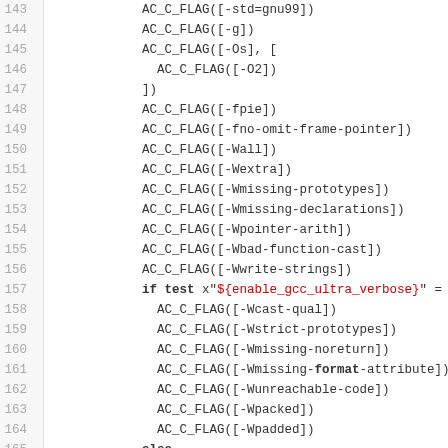[Figure (screenshot): Source code listing showing lines 143-165 of an autoconf configure script with AC_C_FLAG macro calls and a conditional block for gcc ultra verbose flags]